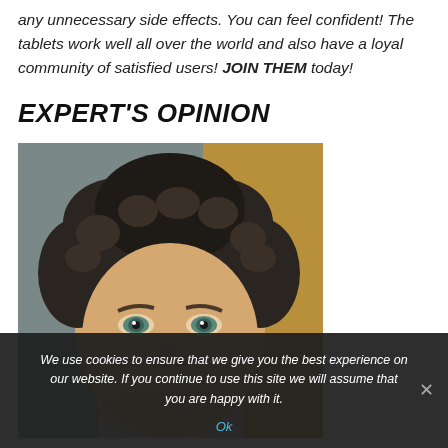any unnecessary side effects. You can feel confident! The tablets work well all over the world and also have a loyal community of satisfied users! JOIN THEM today!
EXPERT'S OPINION
[Figure (photo): Close-up photo of a middle-aged man with curly dark hair and green eyes, looking directly at the camera.]
We use cookies to ensure that we give you the best experience on our website. If you continue to use this site we will assume that you are happy with it.
Ok